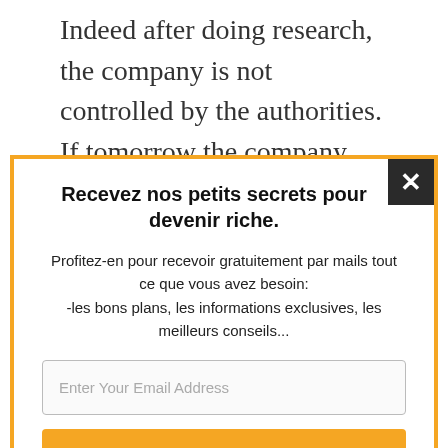Indeed after doing research, the company is not controlled by the authorities. If tomorrow the company closes, you address that? who is really the CEO? No linkedin
Recevez nos petits secrets pour devenir riche.
Profitez-en pour recevoir gratuitement par mails tout ce que vous avez besoin: -les bons plans, les informations exclusives, les meilleurs conseils...
Enter Your Email Address
J'en profite